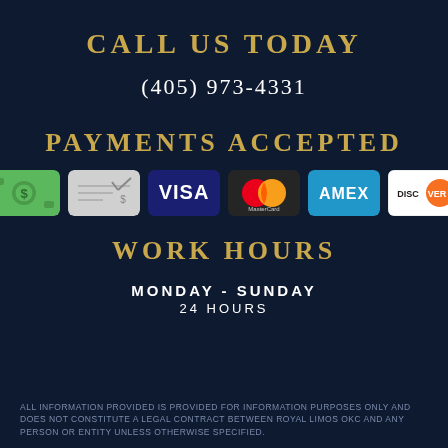CALL US TODAY
(405) 973-4331
PAYMENTS ACCEPTED
[Figure (infographic): Payment method icons: Cash, Check, Visa, MasterCard, Amex, Discover]
WORK HOURS
MONDAY - SUNDAY
24 HOURS
ALL INFORMATION PROVIDED IS PROVIDED FOR INFORMATION PURPOSES ONLY AND DOES NOT CONSTITUTE A LEGAL CONTRACT BETWEEN ROYAL LIMOS OKC AND ANY PERSON OR ENTITY UNLESS OTHERWISE SPECIFIED.